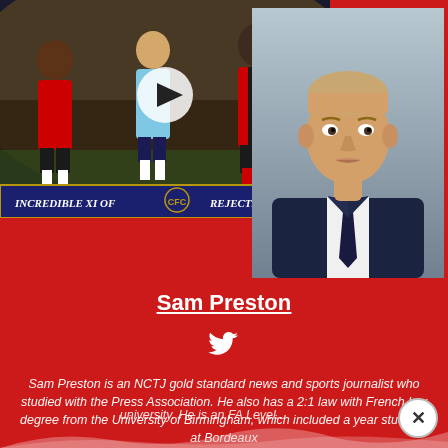[Figure (screenshot): YouTube video thumbnail showing Chelsea Rejects XI with three football players in different kits, play button overlay, and title 'INCREDIBLE XI OF CHELSEA REJECTS']
[Figure (photo): Professional headshot of Sam Preston, a man in a dark navy suit with a dark tie, light background]
Sam Preston
[Figure (illustration): Twitter/X bird icon in white]
Sam Preston is an NCTJ gold standard news and sports journalist who studied with the Press Association. He also has a 2:1 law with French law degree from the University of Birmingham, which included a year studying at Bordeaux university. He is an FA Level...